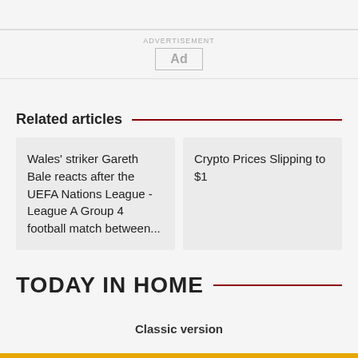[Figure (other): Advertisement placeholder box with label 'ADVERTISEMENT' above and 'Ad' text inside a bordered box]
Related articles
Wales' striker Gareth Bale reacts after the UEFA Nations League - League A Group 4 football match between...
Crypto Prices Slipping to $1
TODAY IN HOME
Classic version
Powered by